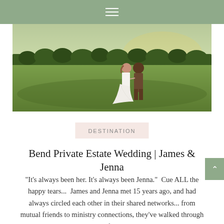≡
[Figure (photo): A bride and groom walking across a green field at sunset, with a tree line in the background. The couple is viewed from behind; the bride is wearing a white flowing dress.]
DESTINATION
Bend Private Estate Wedding | James & Jenna
"It's always been her. It's always been Jenna."  Cue ALL the happy tears...  James and Jenna met 15 years ago, and had always circled each other in their shared networks... from mutual friends to ministry connections, they've walked through life in